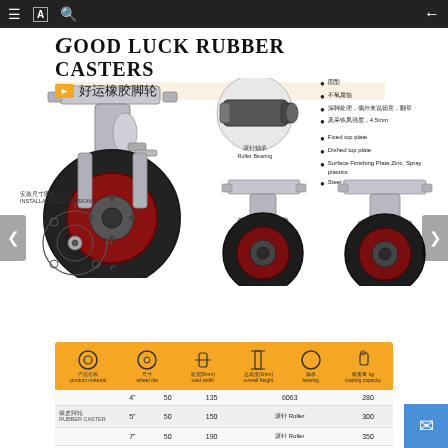Good Luck Rubber Casters / 好运橡胶脚轮
[Figure (photo): Large rubber caster wheel with swivel plate and brake mechanism, black rubber tire with red hub]
[Figure (photo): Roller bearing insert detail labeled 滚针轴承 Roller Bearing]
固型
不氧腐蚀
深脚处理，偶外来说德意，翻草
及采铁凤强度，4.5mm
Fixed top plate
Dished top plate
Surface Finishing Plate Zinc, Spray plastics
Steel thickness 4.5mm
[Figure (photo): Swivel rubber caster wheel, black rubber tire with red hub, side view]
[Figure (photo): Fixed rubber caster wheel, black rubber tire with red hub, front view]
[Figure (engineering-diagram): Installation diagram / INSTALLATION DIMENSIONS showing top plate bolt pattern from above]
| 产品名称 product material | 尺寸 wheel dia | 载重量(5mm) load width | 总高度(5mm) overall height | 轴承 bearing | 载重量 kg loading capacity |
| --- | --- | --- | --- | --- | --- |
|  | 4" | 50 | 135 | 6063 | 280 |
| 橡皮脚轮 RUBBER CASTER | 5" | 50 | 150 | 滚针 Roller | 300 |
|  | 7" | 50 | 190 | 滚针 Roller | 350 |